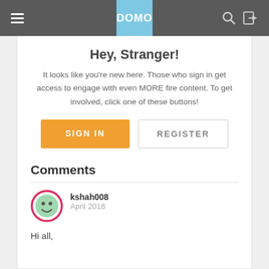DOMO
Hey, Stranger!
It looks like you're new here. Those who sign in get access to engage with even MORE fire content. To get involved, click one of these buttons!
Comments
kshah008
April 2016
Hi all,